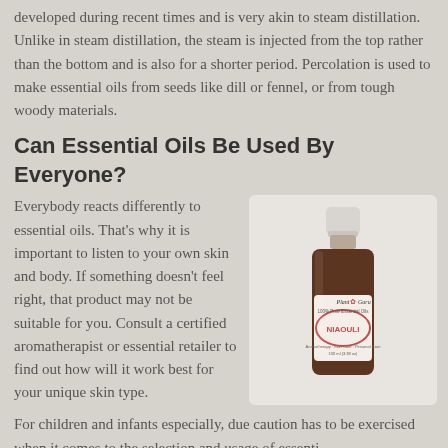developed during recent times and is very akin to steam distillation. Unlike in steam distillation, the steam is injected from the top rather than the bottom and is also for a shorter period. Percolation is used to make essential oils from seeds like dill or fennel, or from tough woody materials.
Can Essential Oils Be Used By Everyone?
Everybody reacts differently to essential oils. That's why it is important to listen to your own skin and body. If something doesn't feel right, that product may not be suitable for you. Consult a certified aromatherapist or essential retailer to find out how will it work best for your unique skin type.
[Figure (photo): A small dark brown essential oil bottle with a white cap, labeled 'Plant Guru NIAOULI 100% Pure Essential Oil', displayed against a light beige background.]
For children and infants especially, due caution has to be exercised when it comes to the selection and usage of essential